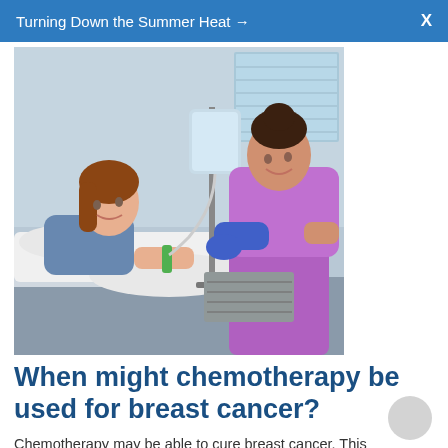Turning Down the Summer Heat →   X
[Figure (photo): A nurse in purple scrubs wearing blue gloves attends to a female patient in a blue hospital gown who is reclining in a hospital bed with an IV drip stand visible in the background.]
When might chemotherapy be used for breast cancer?
Chemotherapy may be able to cure breast cancer. This